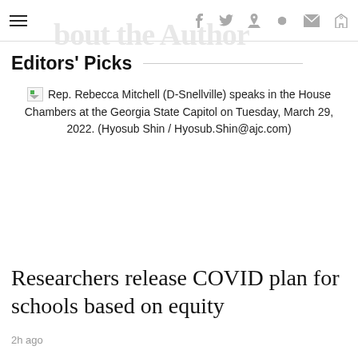≡  f  🐦  𝐏  reddit  ✉  💬
Editors' Picks
Rep. Rebecca Mitchell (D-Snellville) speaks in the House Chambers at the Georgia State Capitol on Tuesday, March 29, 2022. (Hyosub Shin / Hyosub.Shin@ajc.com)
Researchers release COVID plan for schools based on equity
2h ago